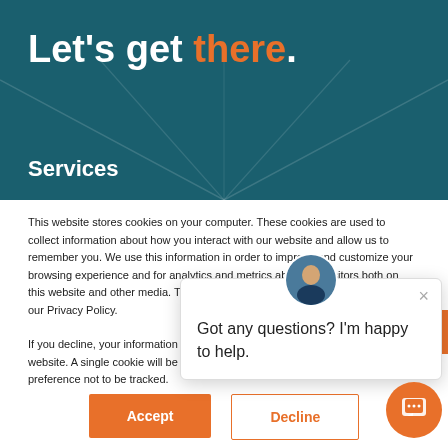Let's get there.
Services
This website stores cookies on your computer. These cookies are used to collect information about how you interact with our website and allow us to remember you. We use this information in order to improve and customize your browsing experience and for analytics and metrics about our visitors both on this website and other media. To find out more about the cookies we use, see our Privacy Policy.
If you decline, your information won't be tracked when you visit this website. A single cookie will be used in your browser to remember your preference not to be tracked.
Got any questions? I'm happy to help.